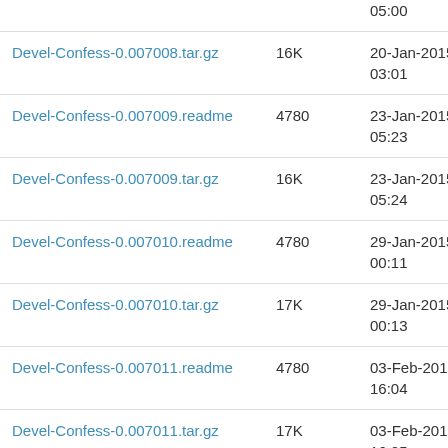| Devel-Confess-0.007008.tar.gz | 16K | 20-Jan-2015 03:01 |
| Devel-Confess-0.007009.readme | 4780 | 23-Jan-2015 05:23 |
| Devel-Confess-0.007009.tar.gz | 16K | 23-Jan-2015 05:24 |
| Devel-Confess-0.007010.readme | 4780 | 29-Jan-2015 00:11 |
| Devel-Confess-0.007010.tar.gz | 17K | 29-Jan-2015 00:13 |
| Devel-Confess-0.007011.readme | 4780 | 03-Feb-2015 16:04 |
| Devel-Confess-0.007011.tar.gz | 17K | 03-Feb-2015 16:05 |
| Devel-Confess-0.007012.readme | 4780 | 30-Mar-2015 20:57 |
| Devel-Confess-0.007012.tar.gz | 18K | 30-Mar-2015 20:57 |